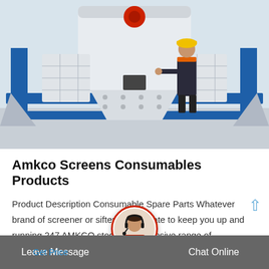[Figure (photo): Industrial screening/crushing machine (white and blue) with a worker in yellow hard hat and dark uniform standing next to it in a factory setting]
Amkco Screens Consumables Products
Product Description Consumable Spare Parts Whatever brand of screener or sifter you operate to keep you up and running 247 AMKCO stocks an extensive range of consumable spare parts major.
Leave Message   Chat Online